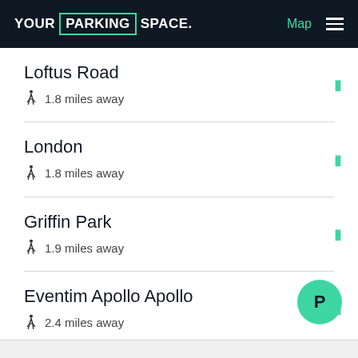YOUR PARKING SPACE. Map ☰
Loftus Road — 1.8 miles away
London — 1.8 miles away
Griffin Park — 1.9 miles away
Eventim Apollo Apollo — 2.4 miles away